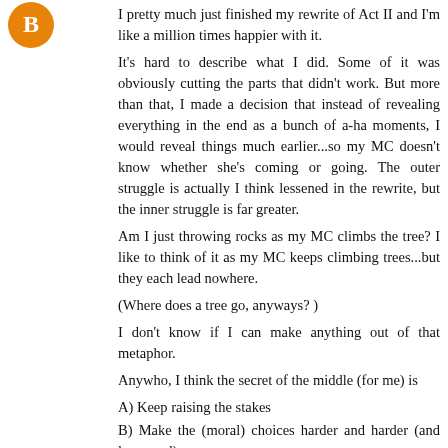[Figure (logo): Orange Blogger logo circle with white B]
I pretty much just finished my rewrite of Act II and I'm like a million times happier with it.
It's hard to describe what I did. Some of it was obviously cutting the parts that didn't work. But more than that, I made a decision that instead of revealing everything in the end as a bunch of a-ha moments, I would reveal things much earlier...so my MC doesn't know whether she's coming or going. The outer struggle is actually I think lessened in the rewrite, but the inner struggle is far greater.
Am I just throwing rocks as my MC climbs the tree? I like to think of it as my MC keeps climbing trees...but they each lead nowhere.
(Where does a tree go, anyways? )
I don't know if I can make anything out of that metaphor.
Anywho, I think the secret of the middle (for me) is
A) Keep raising the stakes
B) Make the (moral) choices harder and harder (and less good)
C) Mix in some key wins (at rising costs of course)
D) Conflict that is in conflict with other conflicts. Think about work, where you have three projects due, the boss is yelling at you, the spouse wants your attention, the kid's teacher is calling, and the dog is sick. That's not conflict. That's a shitstorm. In Act